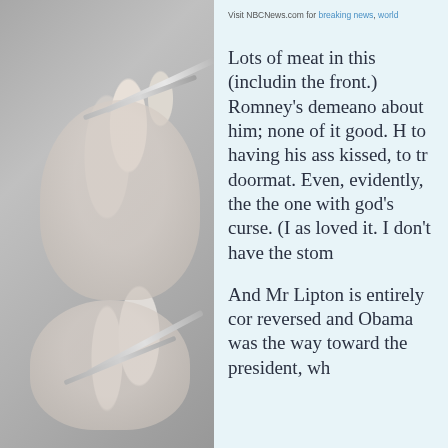[Figure (photo): Left panel showing a gray-toned photo of hands holding needles or scissors, partially visible]
Visit NBCNews.com for breaking news, world
Lots of meat in this (including the front.) Romney's demeanor about him; none of it good. H to having his ass kissed, to tr doormat. Even, evidently, the the one with god's curse. (I as loved it. I don't have the stom
And Mr Lipton is entirely cor reversed and Obama was the way toward the president, wh